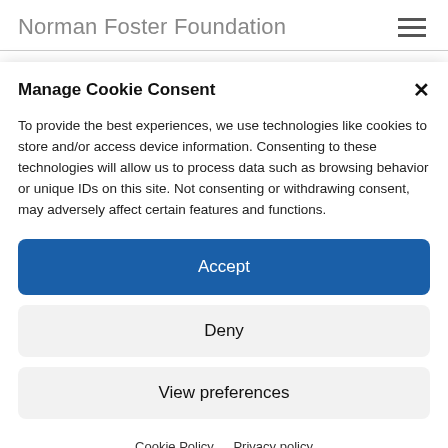Norman Foster Foundation
In this episode of the ‘Building the Future’ series,
Manage Cookie Consent
To provide the best experiences, we use technologies like cookies to store and/or access device information. Consenting to these technologies will allow us to process data such as browsing behavior or unique IDs on this site. Not consenting or withdrawing consent, may adversely affect certain features and functions.
Accept
Deny
View preferences
Cookie Policy   Privacy policy